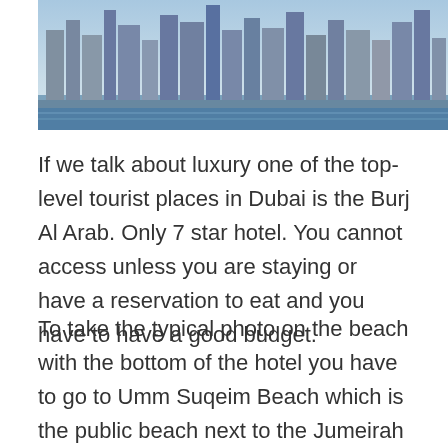[Figure (photo): Aerial or waterfront city skyline photo showing modern skyscrapers and high-rise buildings along a waterfront, likely Dubai Marina or downtown Dubai area.]
If we talk about luxury one of the top-level tourist places in Dubai is the Burj Al Arab. Only 7 star hotel. You cannot access unless you are staying or have a reservation to eat and you have to have a good budget.
To take the typical photo on the beach with the bottom of the hotel you have to go to Umm Suqeim Beach which is the public beach next to the Jumeirah Beach hotel. From the front entrance to the hotel you must walk about 5 blocks until you find an unrestricted entrance to the beach. This beach is not one of the best, it has no facilities, I only recommend it if you want to take this kind of photos.